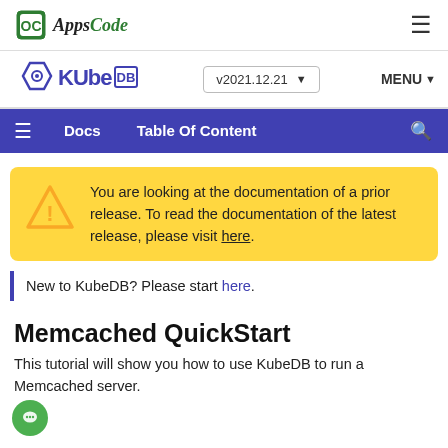AppsCode
[Figure (logo): KubeDB logo with version selector v2021.12.21 and MENU button]
Docs  Table Of Content  (search icon)
You are looking at the documentation of a prior release. To read the documentation of the latest release, please visit here.
New to KubeDB? Please start here.
Memcached QuickStart
This tutorial will show you how to use KubeDB to run a Memcached server.